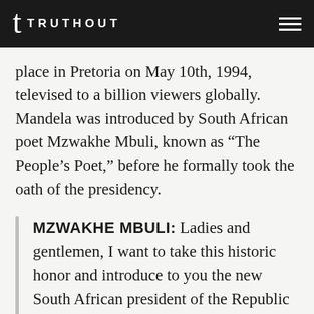TRUTHOUT
place in Pretoria on May 10th, 1994, televised to a billion viewers globally. Mandela was introduced by South African poet Mzwakhe Mbuli, known as “The People’s Poet,” before he formally took the oath of the presidency.
MZWAKHE MBULI: Ladies and gentlemen, I want to take this historic honor and introduce to you the new South African president of the Republic of South Africa, Nelson Rolihlahla Mandela. I talk of